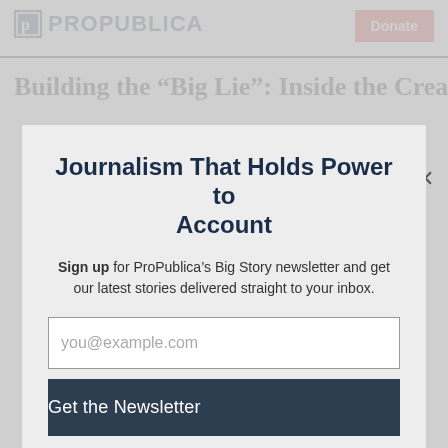ProPublica | Donate
Building the “Big Lie”: Inside the Creation of
Journalism That Holds Power to Account
Sign up for ProPublica’s Big Story newsletter and get our latest stories delivered straight to your inbox.
you@example.com
Get the Newsletter
No thanks, I’m all set
This site is protected by reCAPTCHA and the Google Privacy Policy and Terms of Service apply.